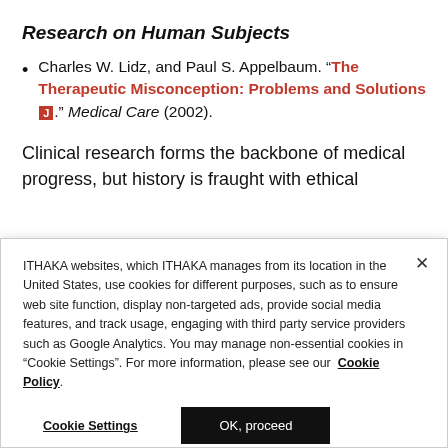Research on Human Subjects
Charles W. Lidz, and Paul S. Appelbaum. “The Therapeutic Misconception: Problems and Solutions [J].” Medical Care (2002).
Clinical research forms the backbone of medical progress, but history is fraught with ethical
ITHAKA websites, which ITHAKA manages from its location in the United States, use cookies for different purposes, such as to ensure web site function, display non-targeted ads, provide social media features, and track usage, engaging with third party service providers such as Google Analytics. You may manage non-essential cookies in “Cookie Settings”. For more information, please see our Cookie Policy.
Cookie Settings   OK, proceed